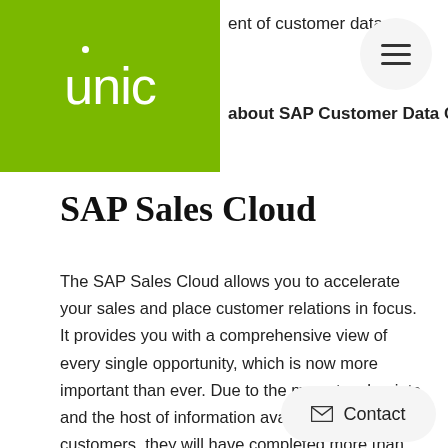ent of customer data. about SAP Customer Data Cloud
SAP Sales Cloud
The SAP Sales Cloud allows you to accelerate your sales and place customer relations in focus. It provides you with a comprehensive view of every single opportunity, which is now more important than ever. Due to the many touchpoints and the host of information available to potential customers, they will have completed more than half of the sales process before making c... your sales representative for the firs... to the predictive real-time analysis provided by